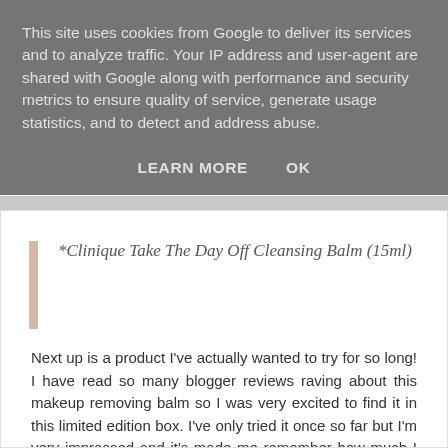This site uses cookies from Google to deliver its services and to analyze traffic. Your IP address and user-agent are shared with Google along with performance and security metrics to ensure quality of service, generate usage statistics, and to detect and address abuse.
LEARN MORE   OK
*Clinique Take The Day Off Cleansing Balm (15ml)
Next up is a product I've actually wanted to try for so long! I have read so many blogger reviews raving about this makeup removing balm so I was very excited to find it in this limited edition box. I've only tried it once so far but I'm very impressed and it's made me remember how much I love using cleansing balms, especially on my dry skin, as for the past year or two I've been using gel and creamy cleansers but balms are definitely the way to go and this discovery of them has boosted the experience ability